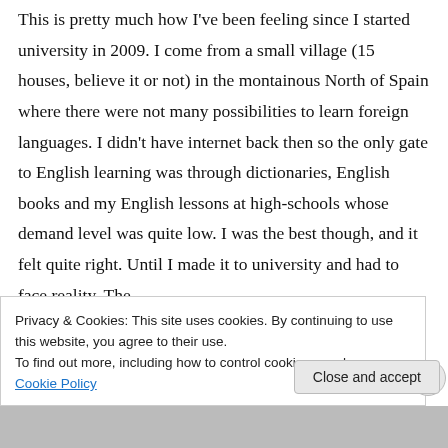This is pretty much how I've been feeling since I started university in 2009. I come from a small village (15 houses, believe it or not) in the montainous North of Spain where there were not many possibilities to learn foreign languages. I didn't have internet back then so the only gate to English learning was through dictionaries, English books and my English lessons at high-schools whose demand level was quite low. I was the best though, and it felt quite right. Until I made it to university and had to face reality. The
Privacy & Cookies: This site uses cookies. By continuing to use this website, you agree to their use.
To find out more, including how to control cookies, see here: Cookie Policy